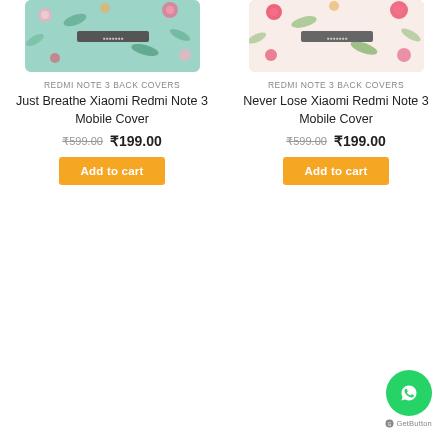[Figure (photo): Product image of Just Breathe Xiaomi Redmi Note 3 Mobile Cover - floral design on teal/green background]
REDMI NOTE 3 BACK COVERS
Just Breathe Xiaomi Redmi Note 3 Mobile Cover
₹599.00  ₹199.00
Add to cart
[Figure (photo): Product image of Never Lose Xiaomi Redmi Note 3 Mobile Cover - floral design on white/light pink background]
REDMI NOTE 3 BACK COVERS
Never Lose Xiaomi Redmi Note 3 Mobile Cover
₹599.00  ₹199.00
Add to cart
[Figure (other): WhatsApp contact widget - green circle with WhatsApp phone icon and GetButton label below]